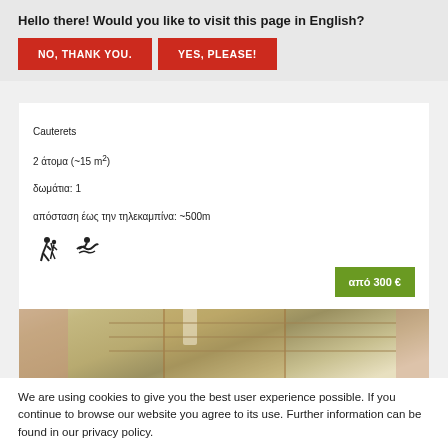Hello there! Would you like to visit this page in English?
NO, THANK YOU.
YES, PLEASE!
Cauterets
2 άτομα (~15 m²)
δωμάτια: 1
απόσταση έως την τηλεκαμπίνα: ~500m
από 300 €
[Figure (photo): Interior room photo showing bunk beds and ceiling light]
We are using cookies to give you the best user experience possible. If you continue to browse our website you agree to its use. Further information can be found in our privacy policy.